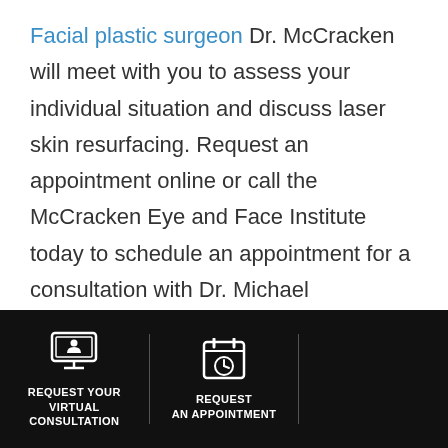Facial plastic surgeon Dr. McCracken will meet with you to assess your individual situation and discuss laser skin resurfacing. Request an appointment online or call the McCracken Eye and Face Institute today to schedule an appointment for a consultation with Dr. Michael McCracken.
[Figure (infographic): Dark footer bar with two call-to-action buttons separated by vertical dividers. Left button shows a computer/monitor icon with text 'REQUEST YOUR VIRTUAL CONSULTATION'. Middle button shows a calendar/clock icon with text 'REQUEST AN APPOINTMENT'. Third section is empty.]